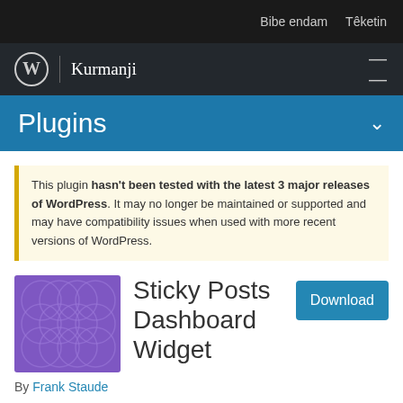Bibe endam   Têketin
Kurmanji
Plugins
This plugin hasn't been tested with the latest 3 major releases of WordPress. It may no longer be maintained or supported and may have compatibility issues when used with more recent versions of WordPress.
[Figure (illustration): Purple plugin icon with circle pattern overlay]
Sticky Posts Dashboard Widget
By Frank Staude